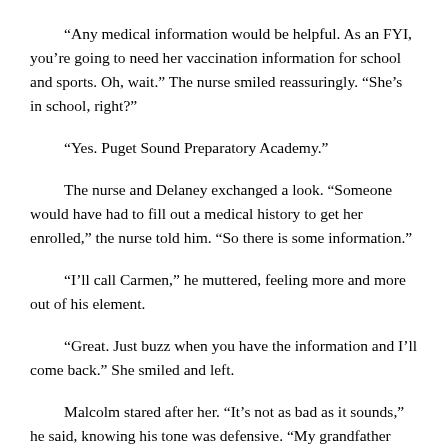“Any medical information would be helpful. As an FYI, you’re going to need her vaccination information for school and sports. Oh, wait.” The nurse smiled reassuringly. “She’s in school, right?”
“Yes. Puget Sound Preparatory Academy.”
The nurse and Delaney exchanged a look. “Someone would have had to fill out a medical history to get her enrolled,” the nurse told him. “So there is some information.”
“I’ll call Carmen,” he muttered, feeling more and more out of his element.
“Great. Just buzz when you have the information and I’ll come back.” She smiled and left.
Malcolm stared after her. “It’s not as bad as it sounds,” he said, knowing his tone was defensive. “My grandfather enrolled her in